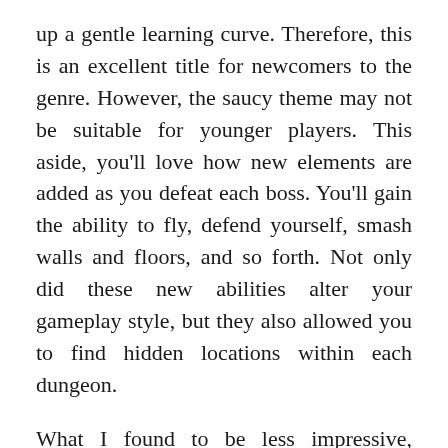up a gentle learning curve. Therefore, this is an excellent title for newcomers to the genre. However, the saucy theme may not be suitable for younger players. This aside, you'll love how new elements are added as you defeat each boss. You'll gain the ability to fly, defend yourself, smash walls and floors, and so forth. Not only did these new abilities alter your gameplay style, but they also allowed you to find hidden locations within each dungeon.
What I found to be less impressive, however, was the ill-explained fundamentals. Mia's special abilities are powered with Mana crystals. Subsequently, every time you fly, use your shield or smash blocks, you use some Mana. Now, this may